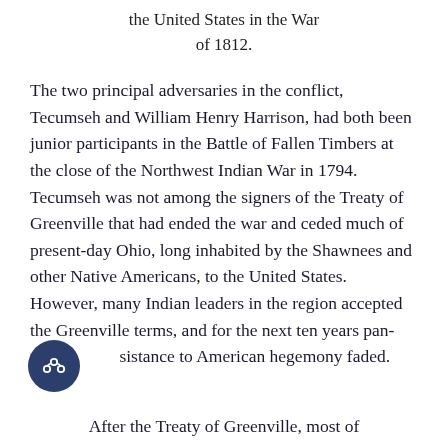the United States in the War of 1812.
The two principal adversaries in the conflict, Tecumseh and William Henry Harrison, had both been junior participants in the Battle of Fallen Timbers at the close of the Northwest Indian War in 1794. Tecumseh was not among the signers of the Treaty of Greenville that had ended the war and ceded much of present-day Ohio, long inhabited by the Shawnees and other Native Americans, to the United States. However, many Indian leaders in the region accepted the Greenville terms, and for the next ten years pan-tribal resistance to American hegemony faded.
After the Treaty of Greenville, most of